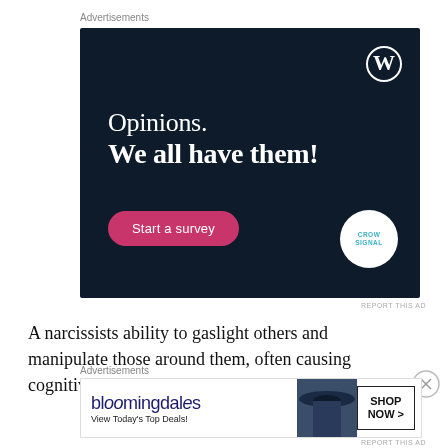Advertisements
[Figure (illustration): WordPress/Crowdsignal advertisement banner with dark navy background. Shows text 'Opinions. We all have them!' with a pink 'Start a survey' button, WordPress logo in top right, and Crowdsignal circular logo in bottom right.]
REPORT THIS AD
A narcissists ability to gaslight others and manipulate those around them, often causing cognitive dissonance
Advertisements
[Figure (illustration): Bloomingdale's advertisement banner. Shows Bloomingdales logo in blue script, 'View Today's Top Deals!' text, woman in hat photo, and 'SHOP NOW >' button.]